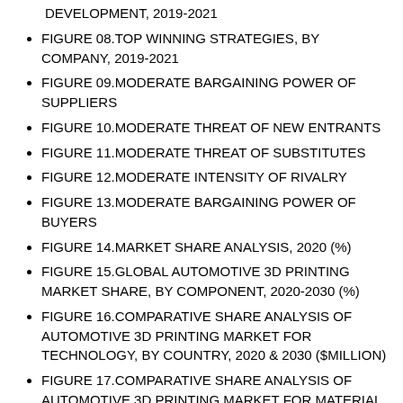DEVELOPMENT, 2019-2021
FIGURE 08.TOP WINNING STRATEGIES, BY COMPANY, 2019-2021
FIGURE 09.MODERATE BARGAINING POWER OF SUPPLIERS
FIGURE 10.MODERATE THREAT OF NEW ENTRANTS
FIGURE 11.MODERATE THREAT OF SUBSTITUTES
FIGURE 12.MODERATE INTENSITY OF RIVALRY
FIGURE 13.MODERATE BARGAINING POWER OF BUYERS
FIGURE 14.MARKET SHARE ANALYSIS, 2020 (%)
FIGURE 15.GLOBAL AUTOMOTIVE 3D PRINTING MARKET SHARE, BY COMPONENT, 2020-2030 (%)
FIGURE 16.COMPARATIVE SHARE ANALYSIS OF AUTOMOTIVE 3D PRINTING MARKET FOR TECHNOLOGY, BY COUNTRY, 2020 & 2030 ($MILLION)
FIGURE 17.COMPARATIVE SHARE ANALYSIS OF AUTOMOTIVE 3D PRINTING MARKET FOR MATERIAL, BY COUNTRY, 2020 & 2030 ($MILLION)
FIGURE 18.COMPARATIVE SHARE ANALYSIS OF